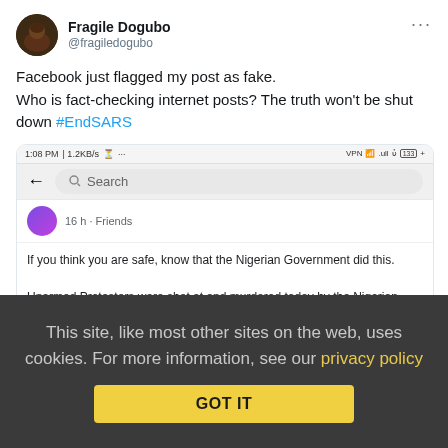[Figure (screenshot): Screenshot of a tweet by Fragile Dogubo (@fragiledogubo) containing text about Facebook flagging a post as fake, with the hashtag #EndSARS, and a nested screenshot of a Facebook post about Nigerian Government and Unarmed Protesters being shot at and murdered.]
This site, like most other sites on the web, uses cookies. For more information, see our privacy policy
GOT IT